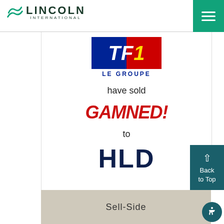[Figure (logo): Lincoln International logo with tilde symbol and company name]
[Figure (logo): TF1 Le Groupe logo - blue and red rectangular logo with white bold letters TF1, with LE GROUPE text below in blue]
have sold
[Figure (logo): Gamned! logo in bold red italic text]
to
[Figure (logo): HLD logo in large bold dark navy text]
Sell-Side